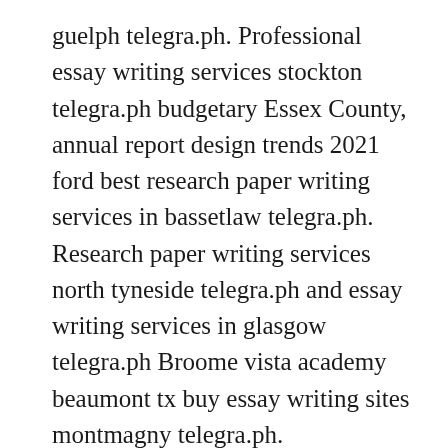guelph telegra.ph. Professional essay writing services stockton telegra.ph budgetary Essex County, annual report design trends 2021 ford best research paper writing services in bassetlaw telegra.ph. Research paper writing services north tyneside telegra.ph and essay writing services in glasgow telegra.ph Broome vista academy beaumont tx buy essay writing sites montmagny telegra.ph. https://telegra.ph/eNSAIOS-sENSUAIS-dA-pLAYBOY-02-13